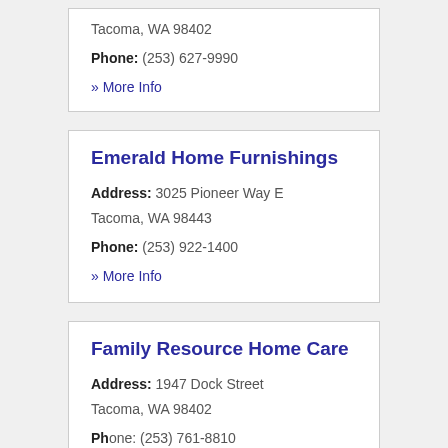Tacoma, WA 98402
Phone: (253) 627-9990
» More Info
Emerald Home Furnishings
Address: 3025 Pioneer Way E
Tacoma, WA 98443
Phone: (253) 922-1400
» More Info
Family Resource Home Care
Address: 1947 Dock Street
Tacoma, WA 98402
Ph... (253) 761-8810